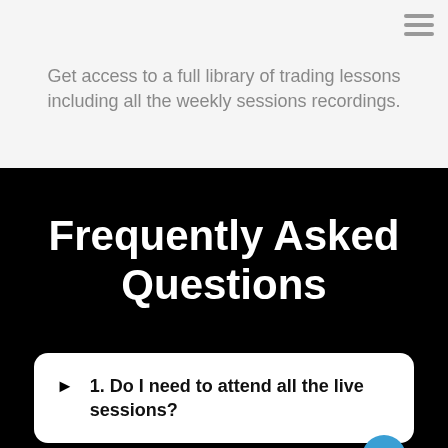Get access to a full library of trading lessons including all the weekly sessions recordings.
Frequently Asked Questions
1. Do I need to attend all the live sessions?